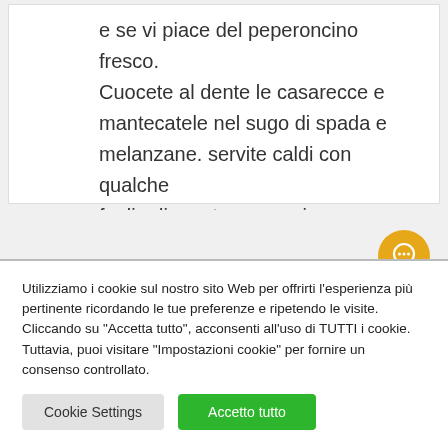e se vi piace del peperoncino fresco. Cuocete al dente le casarecce e mantecatele nel sugo di spada e melanzane. servite caldi con qualche foglia di menta a guarnire.
[Figure (other): Yellow circular chat/message button icon]
Utilizziamo i cookie sul nostro sito Web per offrirti l'esperienza più pertinente ricordando le tue preferenze e ripetendo le visite. Cliccando su "Accetta tutto", acconsenti all'uso di TUTTI i cookie. Tuttavia, puoi visitare "Impostazioni cookie" per fornire un consenso controllato.